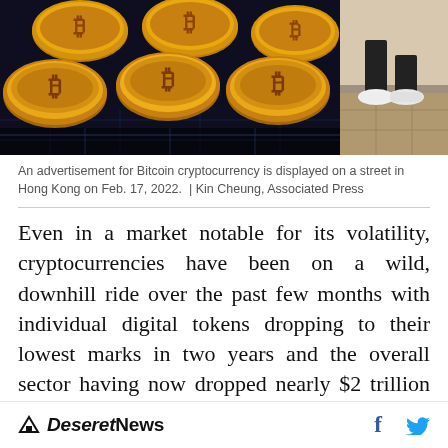[Figure (photo): Two photos side by side: left shows a pile of gold Bitcoin cryptocurrency coins on a dark surface; right shows a person's legs/feet walking on a tiled floor.]
An advertisement for Bitcoin cryptocurrency is displayed on a street in Hong Kong on Feb. 17, 2022.  |  Kin Cheung, Associated Press
Even in a market notable for its volatility, cryptocurrencies have been on a wild, downhill ride over the past few months with individual digital tokens dropping to their lowest marks in two years and the overall sector having now dropped nearly $2 trillion in value since late last year.
Deseret News  f  [Twitter bird icon]